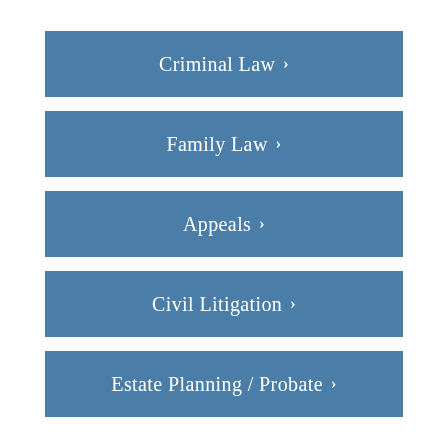Criminal Law ›
Family Law ›
Appeals ›
Civil Litigation ›
Estate Planning / Probate ›